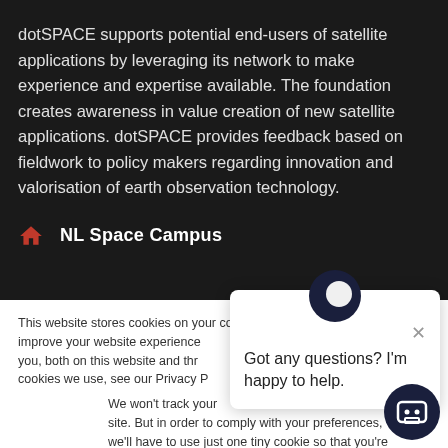dotSPACE supports potential end-users of satellite applications by leveraging its network to make experience and expertise available. The foundation creates awareness in value creation of new satellite applications. dotSPACE provides feedback based on fieldwork to policy makers regarding innovation and valorisation of earth observation technology.
NL Space Campus
This website stores cookies on your computer. These cookies are used to improve your website experience and provide more personalized services to you, both on this website and through other media. To find out more about the cookies we use, see our Privacy Policy.
We won't track your information when you visit our site. But in order to comply with your preferences, we'll have to use just one tiny cookie so that you're not asked to make this choice again.
Got any questions? I'm happy to help.